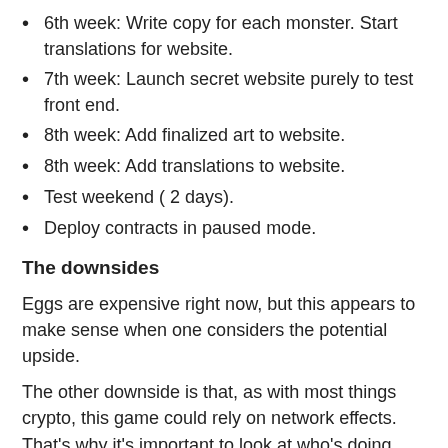6th week: Write copy for each monster. Start translations for website.
7th week: Launch secret website purely to test front end.
8th week: Add finalized art to website.
8th week: Add translations to website.
Test weekend ( 2 days).
Deploy contracts in paused mode.
The downsides
Eggs are expensive right now, but this appears to make sense when one considers the potential upside.
The other downside is that, as with most things crypto, this game could rely on network effects. That's why it's important to look at who's doing their marketing, the amount of effort gone into the project thus far, and the experience of all the team members making this a reality. Within a week of their launch, Altcoin Buzz, one of the biggest blockchain YouTube channels